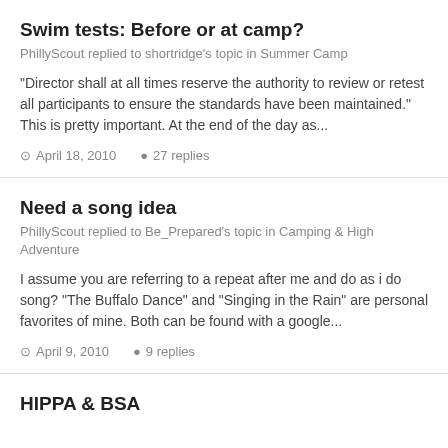Swim tests: Before or at camp?
PhillyScout replied to shortridge's topic in Summer Camp
"Director shall at all times reserve the authority to review or retest all participants to ensure the standards have been maintained." This is pretty important. At the end of the day as...
April 18, 2010   27 replies
Need a song idea
PhillyScout replied to Be_Prepared's topic in Camping & High Adventure
I assume you are referring to a repeat after me and do as i do song? "The Buffalo Dance" and "Singing in the Rain" are personal favorites of mine. Both can be found with a google...
April 9, 2010   9 replies
HIPPA & BSA